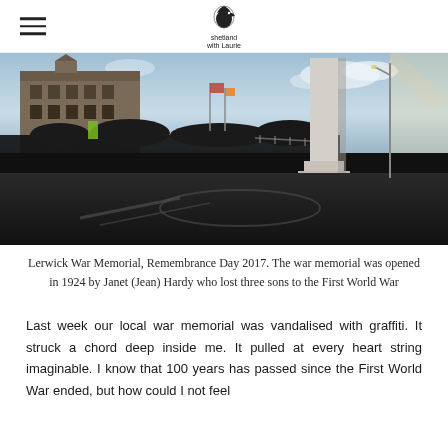shetland with Laurie [logo]
[Figure (photo): Outdoor photograph of Lerwick War Memorial on Remembrance Day 2017. A crowd of people gathered around a tall stone war memorial on the right, with a large Victorian-style stone building on the left. Blue sky with clouds in the background. The scene is mostly dark with strong shadows on the foreground road.]
Lerwick War Memorial, Remembrance Day 2017. The war memorial was opened in 1924 by Janet (Jean) Hardy who lost three sons to the First World War
Last week our local war memorial was vandalised with graffiti. It struck a chord deep inside me. It pulled at every heart string imaginable. I know that 100 years has passed since the First World War ended, but how could I not feel